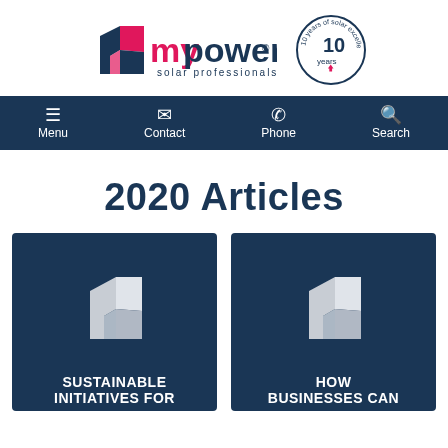[Figure (logo): mypower solar professionals logo with 10 years of solar excellence badge]
Menu  Contact  Phone  Search
2020 Articles
[Figure (illustration): Dark blue card with mypower geometric logo icon and text SUSTAINABLE INITIATIVES FOR]
[Figure (illustration): Dark blue card with mypower geometric logo icon and text HOW BUSINESSES CAN]